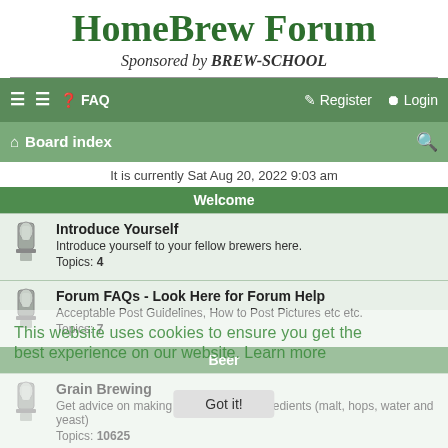HomeBrew Forum
Sponsored by BREW-SCHOOL
≡ ≡ ? FAQ    Register Login
Board index    🔍
It is currently Sat Aug 20, 2022 9:03 am
Welcome
Introduce Yourself
Introduce yourself to your fellow brewers here.
Topics: 4
Forum FAQs - Look Here for Forum Help
Acceptable Post Guidelines, How to Post Pictures etc etc.
Topics: 7
Beer
Grain Brewing
Get advice on making beer from raw ingredients (malt, hops, water and yeast)
Topics: 10625
Brew in a Bag
Make grain beers with the absolute minimum of equipment. Discuss here.
Topics: 687
Extract Brewing
Discussion on brewing beer from malt extract, hops, and yeast.